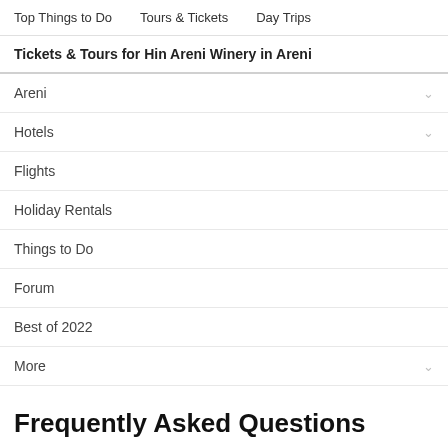Top Things to Do    Tours & Tickets    Day Trips
Tickets & Tours for Hin Areni Winery in Areni
Areni
Hotels
Flights
Holiday Rentals
Things to Do
Forum
Best of 2022
More
Frequently Asked Questions